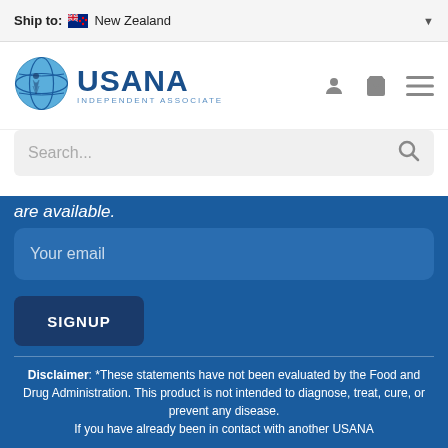Ship to: New Zealand
[Figure (logo): USANA Independent Associate logo with globe icon]
Search...
are available.
Your email
SIGNUP
Disclaimer: *These statements have not been evaluated by the Food and Drug Administration. This product is not intended to diagnose, treat, cure, or prevent any disease. If you have already been in contact with another USANA